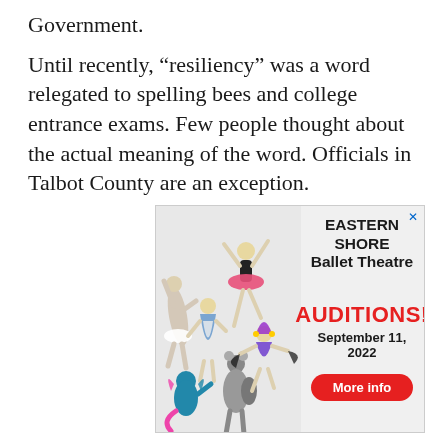Government.

Until recently, “resiliency” was a word relegated to spelling bees and college entrance exams. Few people thought about the actual meaning of the word. Officials in Talbot County are an exception.
[Figure (illustration): Advertisement for Eastern Shore Ballet Theatre. Shows costumed ballet dancers on the left side. Right side has text: 'Photos by Ginger Springer', 'EASTERN SHORE Ballet Theatre', 'AUDITIONS!', 'September 11, 2022', and a red 'More info' button.]